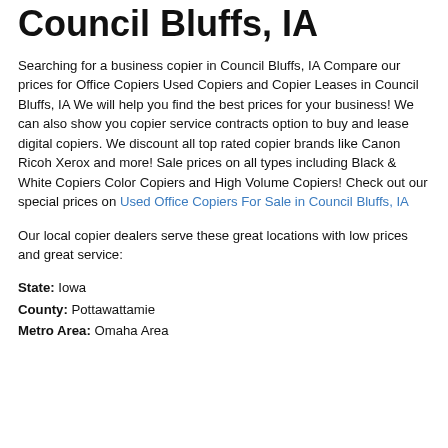Council Bluffs, IA
Searching for a business copier in Council Bluffs, IA Compare our prices for Office Copiers Used Copiers and Copier Leases in Council Bluffs, IA We will help you find the best prices for your business! We can also show you copier service contracts option to buy and lease digital copiers. We discount all top rated copier brands like Canon Ricoh Xerox and more! Sale prices on all types including Black & White Copiers Color Copiers and High Volume Copiers! Check out our special prices on Used Office Copiers For Sale in Council Bluffs, IA
Our local copier dealers serve these great locations with low prices and great service:
State: Iowa
County: Pottawattamie
Metro Area: Omaha Area